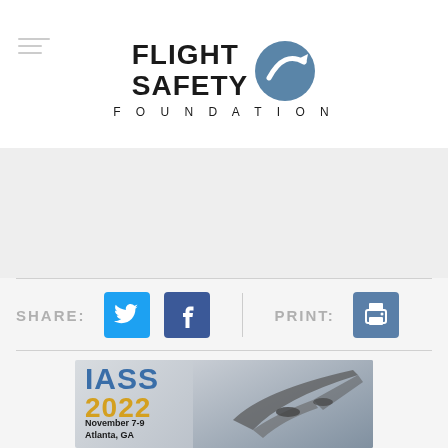[Figure (logo): Flight Safety Foundation logo with airplane icon in blue circle and text FLIGHT SAFETY FOUNDATION]
SHARE:
[Figure (infographic): Social share buttons: Twitter (blue), Facebook (dark blue), vertical divider, PRINT: label, printer icon button (teal-blue)]
[Figure (illustration): IASS 2022 advertisement banner showing IASS in blue, 2022 in gold/yellow, November 7-9, Atlanta, GA text with airplane photo in background]